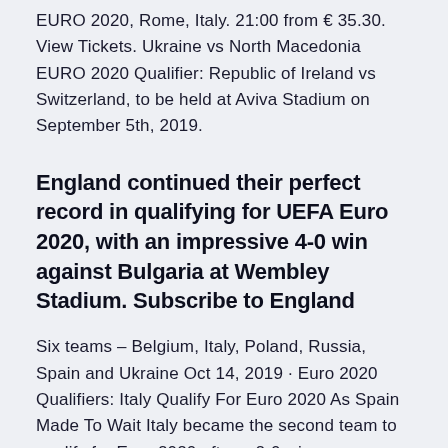EURO 2020, Rome, Italy. 21:00 from € 35.30. View Tickets. Ukraine vs North Macedonia EURO 2020 Qualifier: Republic of Ireland vs Switzerland, to be held at Aviva Stadium on September 5th, 2019.
England continued their perfect record in qualifying for UEFA Euro 2020, with an impressive 4-0 win against Bulgaria at Wembley Stadium. Subscribe to England
Six teams – Belgium, Italy, Poland, Russia, Spain and Ukraine Oct 14, 2019 · Euro 2020 Qualifiers: Italy Qualify For Euro 2020 As Spain Made To Wait Italy became the second team to qualify for Euro 2020 after a 2-0 win